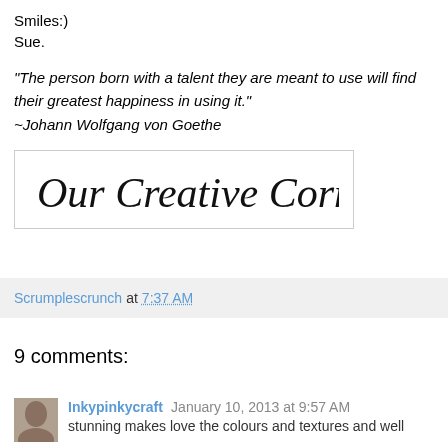Smiles:)
Sue.
"The person born with a talent they are meant to use will find their greatest happiness in using it."
~Johann Wolfgang von Goethe
[Figure (logo): Our Creative Corner logo in cursive/script font inside a bordered box]
Scrumplescrunch at 7:37 AM
9 comments:
Inkypinkycraft January 10, 2013 at 9:57 AM
stunning makes love the colours and textures and well